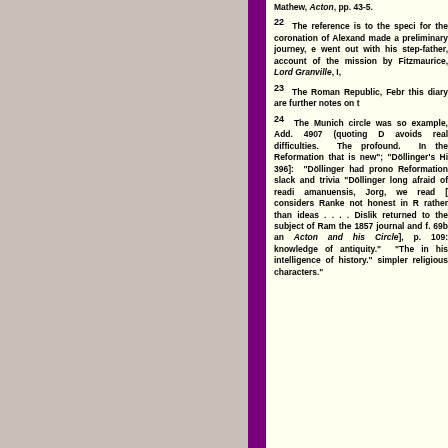Mathew, Acton, pp. 43-5.
22 The reference is to the speci for the coronation of Alexand made a preliminary journey, e went out with his step-father, account of the mission by Fitzmaurice, Lord Granville, I,
23 The Roman Republic, Febr this diary are further notes on t
24 The Munich circle was so example, Add. 4907 (quoting D avoids real difficulties. The profound. In the Reformation that is new"; "Döllinger's Hi 396]: "Döllinger had prono Reformation slack and trivia "Döllinger long afraid of readi amanuensis, Jorg, we read [ considers Ranke not honest in R rather than ideas . . . . Dislik returned to the subject of Ram the 1857 journal and f. 69b an Acton and his Circle], p. 109: knowledge of antiquity." "The in his intelligence of history." simpler religious characters."